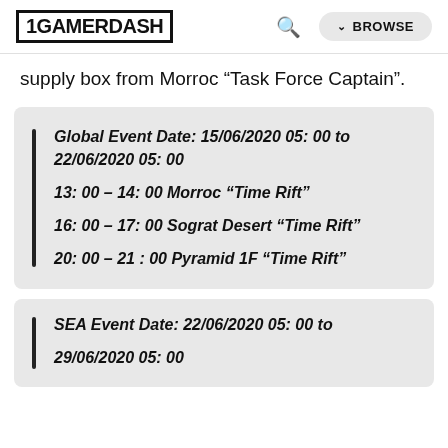1GAMERDASH | BROWSE
supply box from Morroc “Task Force Captain”.
Global Event Date: 15/06/2020 05: 00 to 22/06/2020 05: 00
13: 00 – 14: 00 Morroc “Time Rift”
16: 00 – 17: 00 Sograt Desert “Time Rift”
20: 00 – 21 : 00 Pyramid 1F “Time Rift”
SEA Event Date: 22/06/2020 05: 00 to 29/06/2020 05: 00